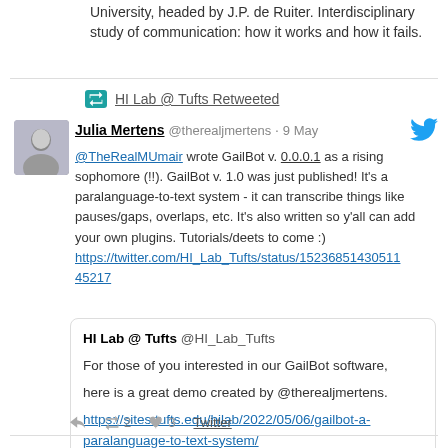University, headed by J.P. de Ruiter. Interdisciplinary study of communication: how it works and how it fails.
HI Lab @ Tufts Retweeted
Julia Mertens @therealjmertens · 9 May
@TheRealMUmair wrote GailBot v. 0.0.0.1 as a rising sophomore (!!). GailBot v. 1.0 was just published! It's a paralanguage-to-text system - it can transcribe things like pauses/gaps, overlaps, etc. It's also written so y'all can add your own plugins. Tutorials/deets to come :) https://twitter.com/HI_Lab_Tufts/status/152368514305114 5217
HI Lab @ Tufts @HI_Lab_Tufts
For those of you interested in our GailBot software, here is a great demo created by @therealjmertens.
https://sites.tufts.edu/hilab/2022/05/06/gailbot-a-paralanguage-to-text-system/
2  3  Twitter